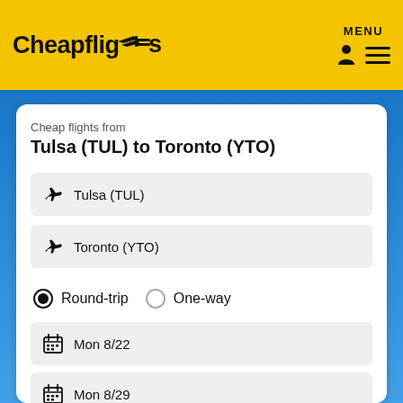[Figure (logo): Cheapflights logo in black bold text on yellow background with arrow icons]
MENU
Cheap flights from
Tulsa (TUL) to Toronto (YTO)
Tulsa (TUL)
Toronto (YTO)
Round-trip  One-way
Mon 8/22
Mon 8/29